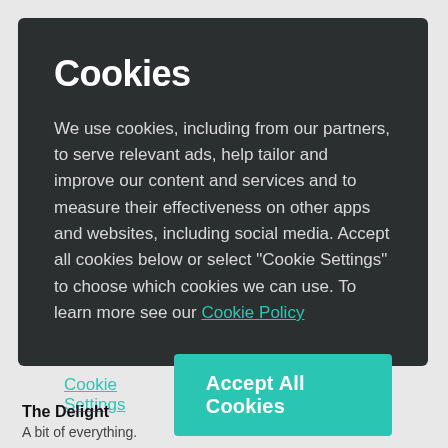Cookies
We use cookies, including from our partners, to serve relevant ads, help tailor and improve our content and services and to measure their effectiveness on other apps and websites, including social media. Accept all cookies below or select “Cookie Settings” to choose which cookies we can use. To learn more see our Cookie Policy
Cookie Settings
Accept All Cookies
The Delight
A bit of everything.